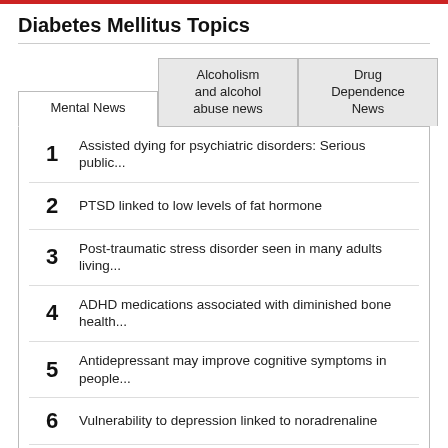Diabetes Mellitus Topics
1 Assisted dying for psychiatric disorders: Serious public...
2 PTSD linked to low levels of fat hormone
3 Post-traumatic stress disorder seen in many adults living...
4 ADHD medications associated with diminished bone health...
5 Antidepressant may improve cognitive symptoms in people...
6 Vulnerability to depression linked to noradrenaline
7 Gene study points towards therapies for common brain disorders